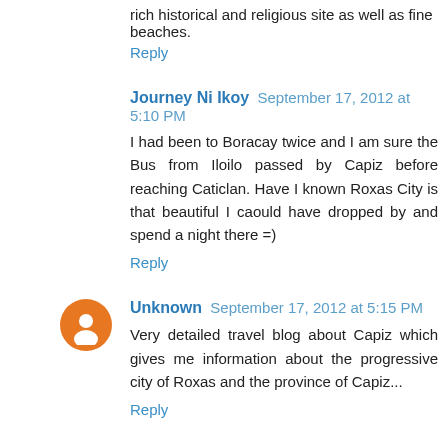rich historical and religious site as well as fine beaches.
Reply
Journey Ni Ikoy  September 17, 2012 at 5:10 PM
I had been to Boracay twice and I am sure the Bus from Iloilo passed by Capiz before reaching Caticlan. Have I known Roxas City is that beautiful I caould have dropped by and spend a night there =)
Reply
Unknown  September 17, 2012 at 5:15 PM
Very detailed travel blog about Capiz which gives me information about the progressive city of Roxas and the province of Capiz...
Reply
Myk Malag  September 17, 2012 at 8:11 PM